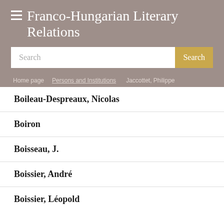≡ Franco-Hungarian Literary Relations
Search
Home page / Persons and Institutions / Jaccottet, Philippe
Boileau-Despreaux, Nicolas
Boiron
Boisseau, J.
Boissier, André
Boissier, Léopold